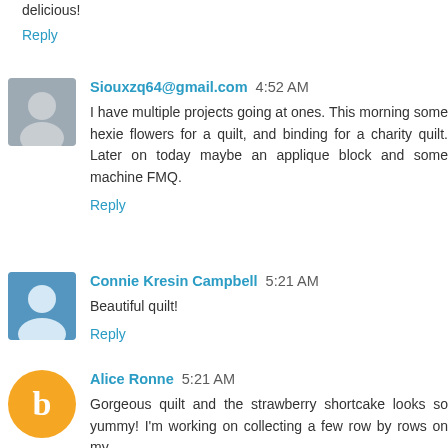delicious!
Reply
Siouxzq64@gmail.com  4:52 AM
I have multiple projects going at ones. This morning some hexie flowers for a quilt, and binding for a charity quilt. Later on today maybe an applique block and some machine FMQ.
Reply
Connie Kresin Campbell  5:21 AM
Beautiful quilt!
Reply
Alice Ronne  5:21 AM
Gorgeous quilt and the strawberry shortcake looks so yummy! I'm working on collecting a few row by rows on my